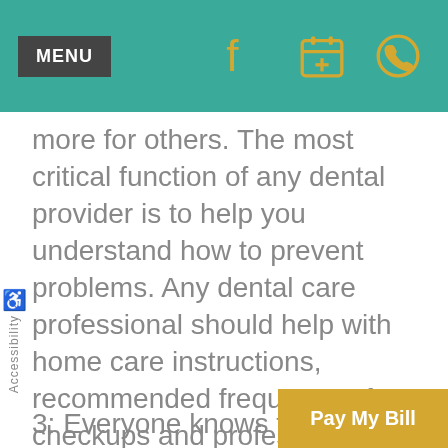MENU
more for others. The most critical function of any dental provider is to help you understand how to prevent problems. Any dental care professional should help with home care instructions, recommended frequency of checkups and professional cleanings, and any additional steps for you to take to protect that precious set of teeth that you have been blessed with..
3: Everyone knows they need to
Accessibility
Pay My Bill